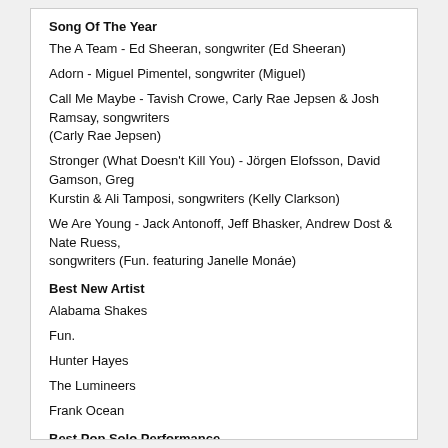Song Of The Year
The A Team - Ed Sheeran, songwriter (Ed Sheeran)
Adorn - Miguel Pimentel, songwriter (Miguel)
Call Me Maybe - Tavish Crowe, Carly Rae Jepsen & Josh Ramsay, songwriters (Carly Rae Jepsen)
Stronger (What Doesn't Kill You) - Jörgen Elofsson, David Gamson, Greg Kurstin & Ali Tamposi, songwriters (Kelly Clarkson)
We Are Young - Jack Antonoff, Jeff Bhasker, Andrew Dost & Nate Ruess, songwriters (Fun. featuring Janelle Monáe)
Best New Artist
Alabama Shakes
Fun.
Hunter Hayes
The Lumineers
Frank Ocean
Best Pop Solo Performance
Set Fire To The Rain [live] - Adele
Stronger (What Doesn't Kill You) - Kelly Clarkson
Call Me Maybe - Carly Rae Jepsen
Wide Awake - Katy Perry
Where Have You Been - Rihanna
Best Pop Duo/Group Performance
Shake It Out - Florence & the Machine
We Are Young - Fun. featuring Janelle Monáe
Somebody That I Used To Know - Gotye Featuring Kimbra
Sexy And I Know It - Lmfao
Payphone - Maroon 5 & Wiz Khalifa
Best Pop Vocal Album
Stronger - Kelly Clarkson